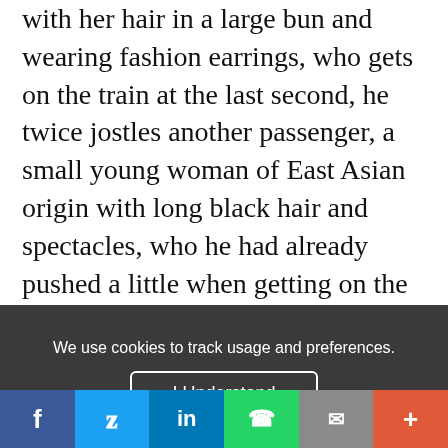with her hair in a large bun and wearing fashion earrings, who gets on the train at the last second, he twice jostles another passenger, a small young woman of East Asian origin with long black hair and spectacles, who he had already pushed a little when getting on the train. He then turns his head towards the woman who pushed him, as if to protest about the treatment he has suffered, and perhaps also about what she had made him do. A few
We use cookies to track usage and preferences.
I Understand